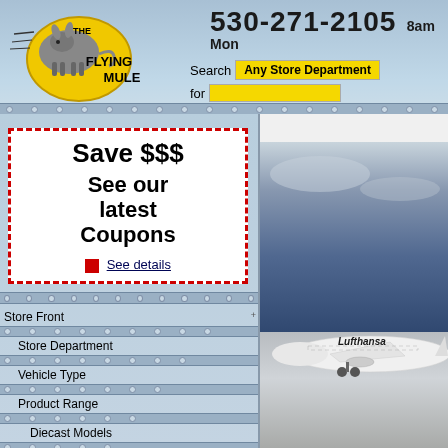The Flying Mule - 530-271-2105 - 8am-? Mon-?
Search Any Store Department for
[Figure (infographic): Coupon box with dashed red border: Save $$$ See our latest Coupons. See details with red square bullet.]
Store Front
Store Department
Vehicle Type
Product Range
Diecast Models
Diecast Aircraft
AeroClassics
1:200 Series
1:400 Series
1:500 Series
Air Force 1
Air Commander Heavy Metal Collection
Amercom
Atlas Editions
Aviation 72
[Figure (photo): Photo of a Lufthansa diecast model airplane (1:400 scale AeroClassics) against a dark blue cloudy sky background, displayed on a gray surface.]